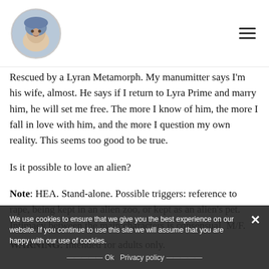[Avatar image of woman in knit hat] [Hamburger menu icon]
Rescued by a Lyran Metamorph. My manumitter says I'm his wife, almost. He says if I return to Lyra Prime and marry him, he will set me free. The more I know of him, the more I fall in love with him, and the more I question my own reality. This seems too good to be true.
Is it possible to love an alien?
Note: HEA. Stand-alone. Possible triggers: reference to rape, being kept in an alien zoo, or kept as an alien's pet. Intimacy between the main characters is consensual. M/F.
WARNING: Intended for adults only.
We use cookies to ensure that we give you the best experience on our website. If you continue to use this site we will assume that you are happy with our use of cookies.
Ok   Privacy policy